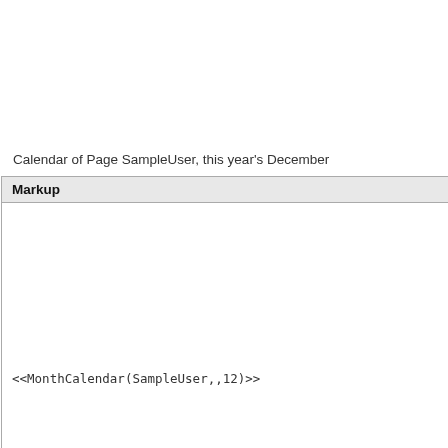|  |  |
| --- | --- |
| 22 | 23 |
| 29 | 30 |
Calendar of Page SampleUser, this year's December
| Markup | Result |
| --- | --- |
| <<MonthCalendar(SampleUser,,12)>> | [calendar widget] |
Calendar of current Page, this year's December
| Markup | Result |
| --- | --- |
| <<MonthCalendar(,,12)>> | [calendar widget] |